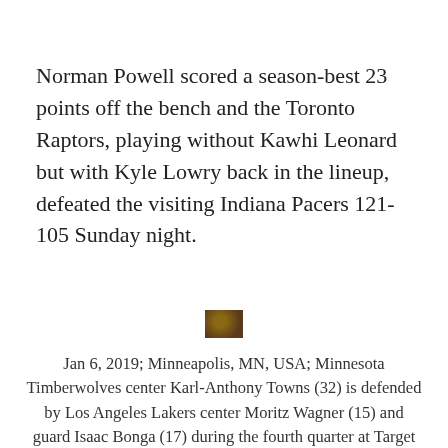Norman Powell scored a season-best 23 points off the bench and the Toronto Raptors, playing without Kawhi Leonard but with Kyle Lowry back in the lineup, defeated the visiting Indiana Pacers 121-105 Sunday night.
[Figure (photo): Small thumbnail photo of basketball players, likely Minnesota Timberwolves vs Los Angeles Lakers game action]
Jan 6, 2019; Minneapolis, MN, USA; Minnesota Timberwolves center Karl-Anthony Towns (32) is defended by Los Angeles Lakers center Moritz Wagner (15) and guard Isaac Bonga (17) during the fourth quarter at Target Center. Mandatory Credit: Brace Hemmelgarn-USA TODAY Sports